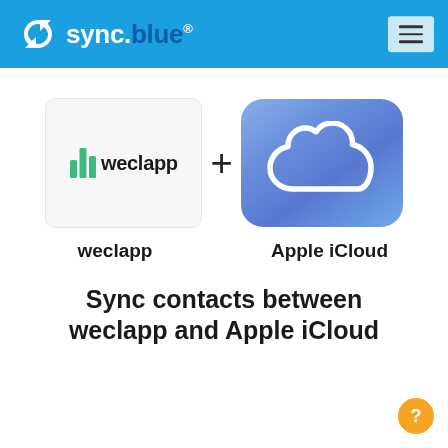sync.blue®
[Figure (logo): weclapp logo — green bar chart icon with 'weclapp' text]
[Figure (logo): Apple iCloud app icon — gradient blue-purple background with white cloud outline]
weclapp
Apple iCloud
Sync contacts between weclapp and Apple iCloud